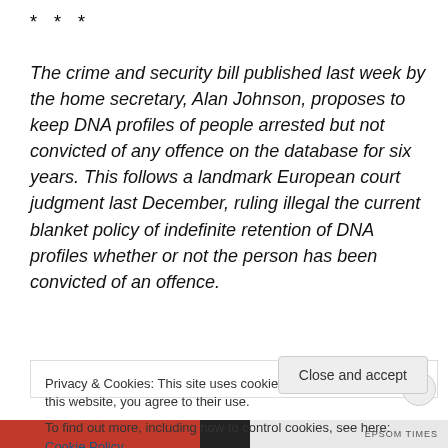* * *
The crime and security bill published last week by the home secretary, Alan Johnson, proposes to keep DNA profiles of people arrested but not convicted of any offence on the database for six years. This follows a landmark European court judgment last December, ruling illegal the current blanket policy of indefinite retention of DNA profiles whether or not the person has been convicted of an offence.
It adds that parliament never formally debated the
Privacy & Cookies: This site uses cookies. By continuing to use this website, you agree to their use.
To find out more, including how to control cookies, see here: Cookie Policy
Close and accept